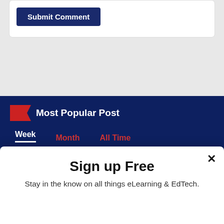[Figure (screenshot): Submit Comment button — dark navy blue rectangular button with white bold text]
Most Popular Post
Week   Month   All Time
Star Assessments Connects...
Nursing Job Growth: The B...
Sectra Launches Next-Gen...
Sign up Free
Stay in the know on all things eLearning & EdTech.